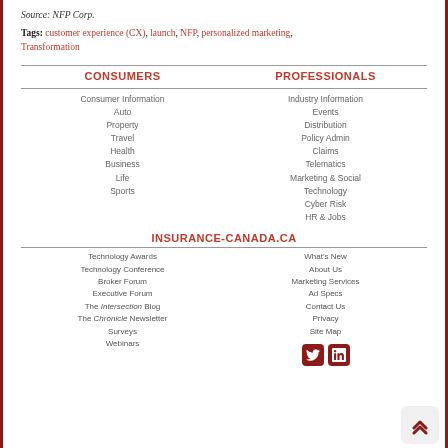Source: NFP Corp.
Tags: customer experience (CX), launch, NFP, personalized marketing, Transformation
CONSUMERS
PROFESSIONALS
Consumer Information
Auto
Property
Travel
Health
Business
Life
Sports
Industry Information
Events
Distribution
Policy Admin
Claims
Telematics
Marketing & Social
Technology
Cyber Risk
HR & Jobs
INSURANCE-CANADA.CA
Technology Awards
Technology Conference
Broker Forum
Executive Forum
The Intersection Blog
The Chronicle Newsletter
Surveys
Webinars
What's New
About Us
Marketing Services
Ad Specs
Contact Us
Privacy
Site Map